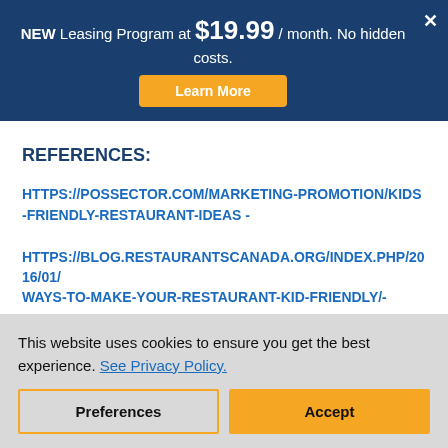NEW Leasing Program at $19.99 / month. No hidden costs. [Learn More button]
REFERENCES:
HTTPS://POSSECTOR.COM/MARKETING-PROMOTION/KIDS-FRIENDLY-RESTAURANT-IDEAS -
HTTPS://BLOG.RESTAURANTSCANADA.ORG/INDEX.PHP/2016/01/ WAYS-TO-MAKE-YOUR-RESTAURANT-KID-FRIENDLY/-
This website uses cookies to ensure you get the best experience. See Privacy Policy.